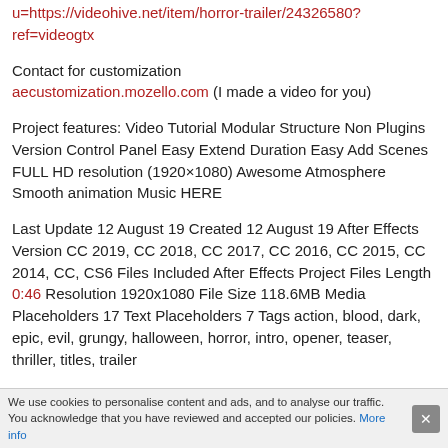u=https://videohive.net/item/horror-trailer/24326580?ref=videogtx
Contact for customization aecustomization.mozello.com (I made a video for you)
Project features: Video Tutorial Modular Structure Non Plugins Version Control Panel Easy Extend Duration Easy Add Scenes FULL HD resolution (1920×1080) Awesome Atmosphere Smooth animation Music HERE
Last Update 12 August 19 Created 12 August 19 After Effects Version CC 2019, CC 2018, CC 2017, CC 2016, CC 2015, CC 2014, CC, CS6 Files Included After Effects Project Files Length 0:46 Resolution 1920x1080 File Size 118.6MB Media Placeholders 17 Text Placeholders 7 Tags action, blood, dark, epic, evil, grungy, halloween, horror, intro, opener, teaser, thriller, titles, trailer
We use cookies to personalise content and ads, and to analyse our traffic. You acknowledge that you have reviewed and accepted our policies. More info